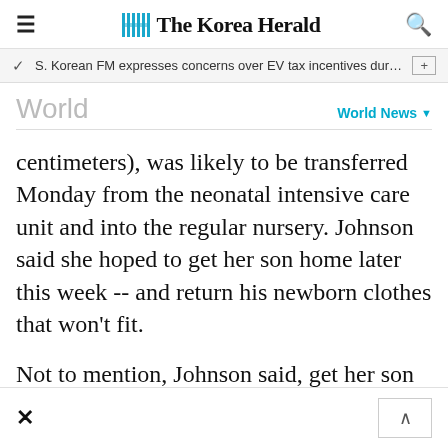The Korea Herald
S. Korean FM expresses concerns over EV tax incentives during c…
World
centimeters), was likely to be transferred Monday from the neonatal intensive care unit and into the regular nursery. Johnson said she hoped to get her son home later this week -- and return his newborn clothes that won't fit.
Not to mention, Johnson said, get her son out of the spotlight finally.